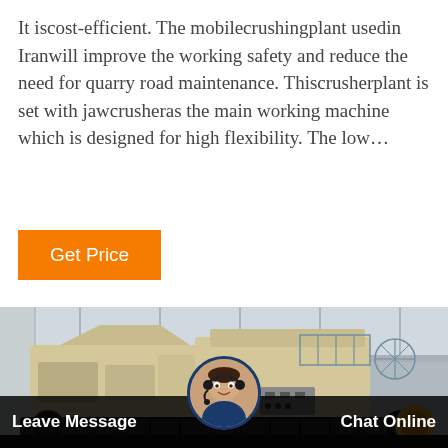It iscost-efficient. The mobilecrushingplant usedin Iranwill improve the working safety and reduce the need for quarry road maintenance. Thiscrusherplant is set with jawcrusheras the main working machine which is designed for high flexibility. The low…
[Figure (other): Orange 'Get Price' button]
[Figure (photo): Mobile crushing plant (jaw crusher) in an industrial warehouse setting, large beige/cream-colored crushing machinery on tracks]
Leave Message
Chat Online